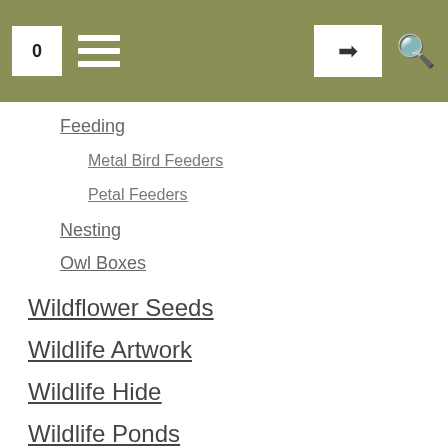0 [hamburger menu] [login] [search]
Feeding
Metal Bird Feeders
Petal Feeders
Nesting
Owl Boxes
Wildflower Seeds
Wildlife Artwork
Wildlife Hide
Wildlife Ponds
This website uses cookies to improve your experience. We'll assume you're ok with this, but you can opt-out if you wish.
Accept  Read More